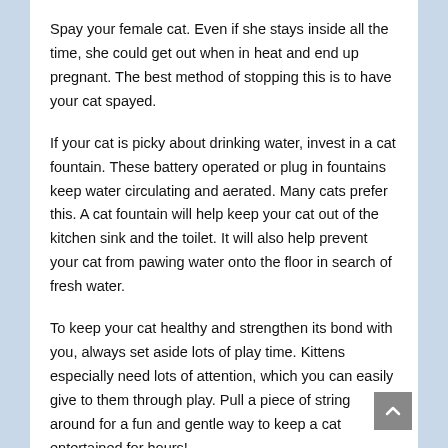Spay your female cat. Even if she stays inside all the time, she could get out when in heat and end up pregnant. The best method of stopping this is to have your cat spayed.
If your cat is picky about drinking water, invest in a cat fountain. These battery operated or plug in fountains keep water circulating and aerated. Many cats prefer this. A cat fountain will help keep your cat out of the kitchen sink and the toilet. It will also help prevent your cat from pawing water onto the floor in search of fresh water.
To keep your cat healthy and strengthen its bond with you, always set aside lots of play time. Kittens especially need lots of attention, which you can easily give to them through play. Pull a piece of string around for a fun and gentle way to keep a cat entertained for hours!
Keep your cat healthy and non-finicky by introducing a varied diet. Always purchase several different brands of food and